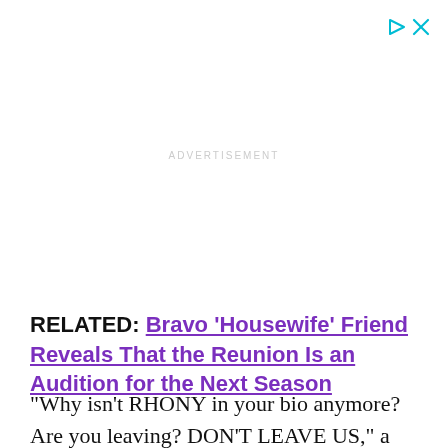[Figure (other): Advertisement placeholder area with 'ADVERTISEMENT' label and ad control icons (play and close buttons) in the top right corner]
RELATED: Bravo 'Housewife' Friend Reveals That the Reunion Is an Audition for the Next Season
“Why isn't RHONY in your bio anymore? Are you leaving? DON'T LEAVE US,” a fan wrote.